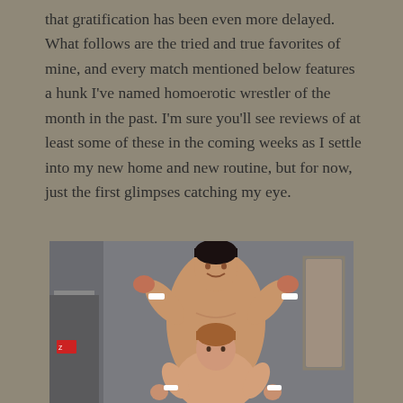that gratification has been even more delayed. What follows are the tried and true favorites of mine, and every match mentioned below features a hunk I've named homoerotic wrestler of the month in the past. I'm sure you'll see reviews of at least some of these in the coming weeks as I settle into my new home and new routine, but for now, just the first glimpses catching my eye.
[Figure (photo): Two shirtless men posing and flexing in a wrestling context. The taller man in the back has dark hair and is flexing both arms with fists raised, wearing white wristbands. A shorter man with lighter hair is in front, also flexing with fists raised and wearing a white wristband on one wrist.]